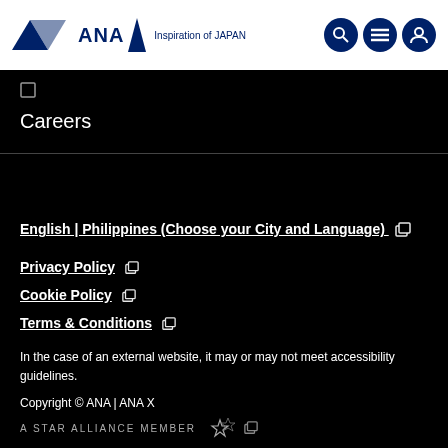ANA Inspiration of JAPAN
Careers
English | Philippines (Choose your City and Language)
Privacy Policy
Cookie Policy
Terms & Conditions
In the case of an external website, it may or may not meet accessibility guidelines.
Copyright © ANA | ANA X
A STAR ALLIANCE MEMBER